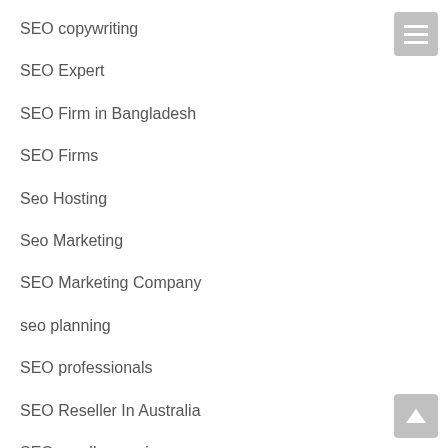SEO copywriting
SEO Expert
SEO Firm in Bangladesh
SEO Firms
Seo Hosting
Seo Marketing
SEO Marketing Company
seo planning
SEO professionals
SEO Reseller In Australia
SEO reseller services
SEO Service provider
SEO Services